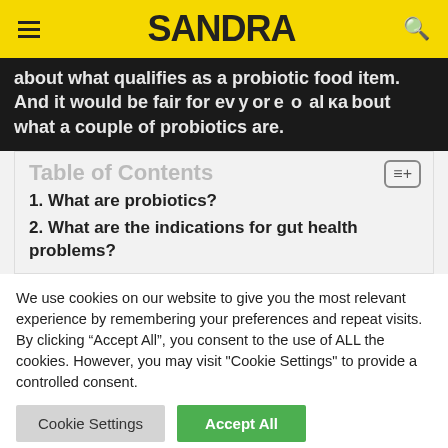SANDRA
about what qualifies as a probiotic food item. And it would be fair for everyone to talk about what a couple of probiotics are.
Table of Contents
1. What are probiotics?
2. What are the indications for gut health problems?
We use cookies on our website to give you the most relevant experience by remembering your preferences and repeat visits. By clicking "Accept All", you consent to the use of ALL the cookies. However, you may visit "Cookie Settings" to provide a controlled consent.